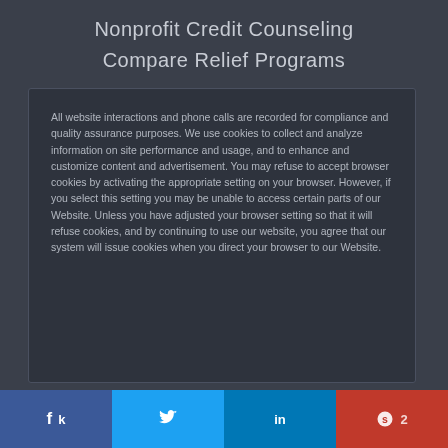Nonprofit Credit Counseling
Compare Relief Programs
All website interactions and phone calls are recorded for compliance and quality assurance purposes. We use cookies to collect and analyze information on site performance and usage, and to enhance and customize content and advertisement. You may refuse to accept browser cookies by activating the appropriate setting on your browser. However, if you select this setting you may be unable to access certain parts of our Website. Unless you have adjusted your browser setting so that it will refuse cookies, and by continuing to use our website, you agree that our system will issue cookies when you direct your browser to our Website.
[Figure (screenshot): Green X button and social sharing bar with Facebook, Twitter, LinkedIn, and Save (2) buttons]